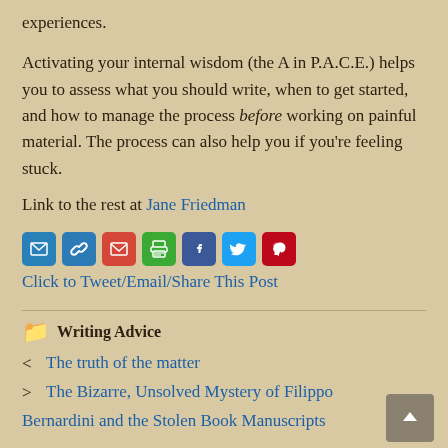experiences.
Activating your internal wisdom (the A in P.A.C.E.) helps you to assess what you should write, when to get started, and how to manage the process before working on painful material. The process can also help you if you're feeling stuck.
Link to the rest at Jane Friedman
[Figure (infographic): Row of social share icons: email (blue), link (blue), Gmail (red), print (green), Facebook (blue), Twitter (light blue), Pinterest (red). Below: 'Click to Tweet/Email/Share This Post' link text in blue.]
Writing Advice
< The truth of the matter
> The Bizarre, Unsolved Mystery of Filippo Bernardini and the Stolen Book Manuscripts